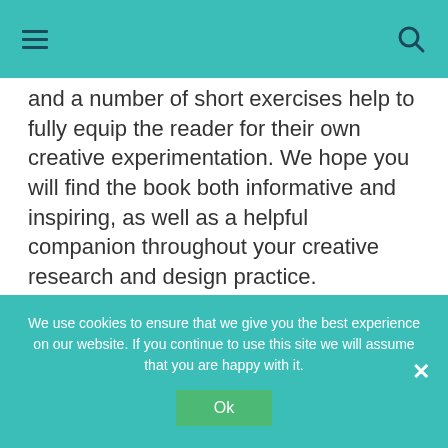Navigation bar with menu and search icons
and a number of short exercises help to fully equip the reader for their own creative experimentation. We hope you will find the book both informative and inspiring, as well as a helpful companion throughout your creative research and design practice.
WHAT IS TEXTILE DESIGN?
The research techniques used in textiles
We use cookies to ensure that we give you the best experience on our website. If you continue to use this site we will assume that you are happy with it.
Ok